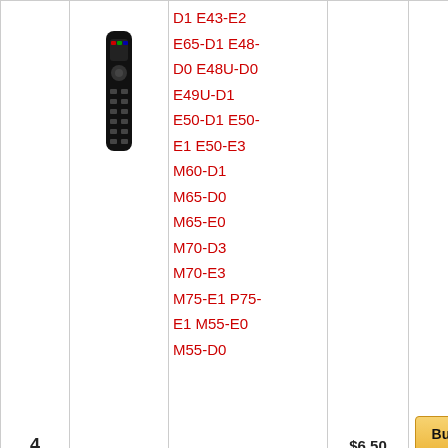| # | Image | Description | Price | Action |
| --- | --- | --- | --- | --- |
| 4 | [remote image] | D1 E43-E2 E65-D1 E48-D0 E48U-D0 E49U-D1 E50-D1 E50-E1 E50-E3 M60-D1 M65-D0 M65-E0 M70-D3 M70-E3 M75-E1 P75-E1 M55-E0 M55-D0 | $6.50 | Buy on Amazon |
|  |  | XRT135 Replacement Remote |  |  |